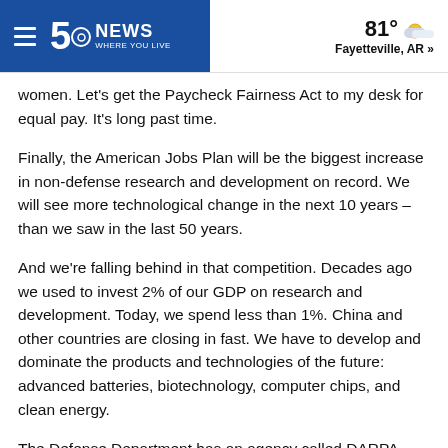5NEWS WHERE YOU LIVE | 81° Fayetteville, AR »
women. Let's get the Paycheck Fairness Act to my desk for equal pay. It's long past time.
Finally, the American Jobs Plan will be the biggest increase in non-defense research and development on record. We will see more technological change in the next 10 years – than we saw in the last 50 years.
And we're falling behind in that competition. Decades ago we used to invest 2% of our GDP on research and development. Today, we spend less than 1%. China and other countries are closing in fast. We have to develop and dominate the products and technologies of the future: advanced batteries, biotechnology, computer chips, and clean energy.
The Defense Department has an agency called DARPA – the Defense Advanced Research Projects Agency – that's there to develop breakthroughs to enhance our national